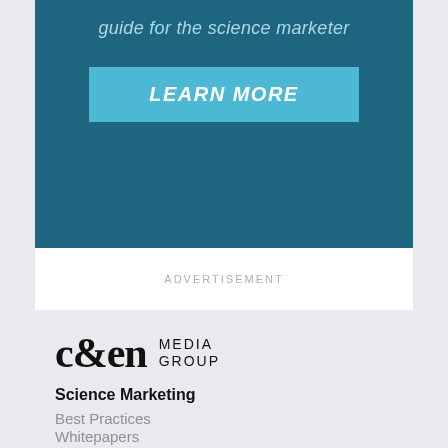guide for the science marketer
[Figure (other): Blue button with LEARN MORE text]
ADVERTISEMENT
[Figure (logo): C&EN Media Group logo]
Science Marketing
Best Practices
Whitepapers
Digital Strategies
Marketing Masters